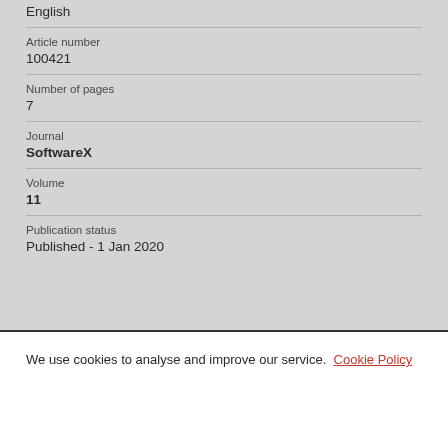English
Article number
100421
Number of pages
7
Journal
SoftwareX
Volume
11
Publication status
Published - 1 Jan 2020
We use cookies to analyse and improve our service. Cookie Policy